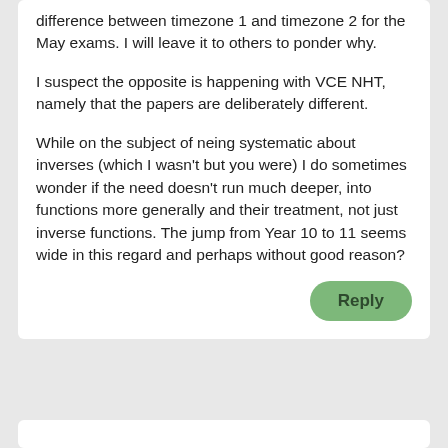difference between timezone 1 and timezone 2 for the May exams. I will leave it to others to ponder why.

I suspect the opposite is happening with VCE NHT, namely that the papers are deliberately different.

While on the subject of neing systematic about inverses (which I wasn't but you were) I do sometimes wonder if the need doesn't run much deeper, into functions more generally and their treatment, not just inverse functions. The jump from Year 10 to 11 seems wide in this regard and perhaps without good reason?